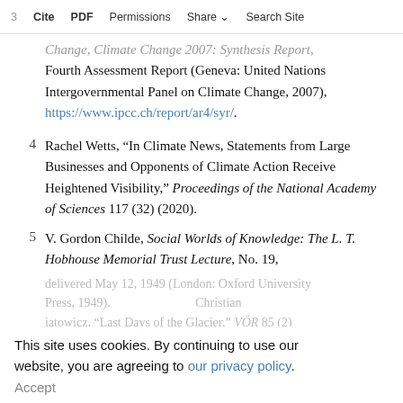3  Cite  PDF  Permissions  Share  Search Site
Change, Climate Change 2007: Synthesis Report, Fourth Assessment Report (Geneva: United Nations Intergovernmental Panel on Climate Change, 2007), https://www.ipcc.ch/report/ar4/syr/.
4  Rachel Wetts, “In Climate News, Statements from Large Businesses and Opponents of Climate Action Receive Heightened Visibility,” Proceedings of the National Academy of Sciences 117 (32) (2020).
5  V. Gordon Childe, Social Worlds of Knowledge: The L. T. Hobhouse Memorial Trust Lecture, No. 19,
This site uses cookies. By continuing to use our website, you are agreeing to our privacy policy. Accept